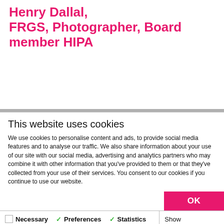Henry Dallal, FRGS, Photographer, Board member HIPA
This website uses cookies
We use cookies to personalise content and ads, to provide social media features and to analyse our traffic. We also share information about your use of our site with our social media, advertising and analytics partners who may combine it with other information that you've provided to them or that they've collected from your use of their services. You consent to our cookies if you continue to use our website.
OK
Necessary  Preferences  Statistics  Marketing  Show details